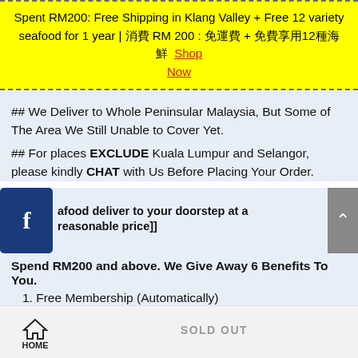Spent RM200: Free Shipping in Klang Valley + Free 12 variety seafood for 1 year | 消費 RM 200 : 免運費 + 免費享用12種海鮮 Shop Now
## We Deliver to Whole Peninsular Malaysia, But Some of The Area We Still Unable to Cover Yet.
## For places EXCLUDE Kuala Lumpur and Selangor, please kindly CHAT with Us Before Placing Your Order.
[Figure (logo): Facebook logo icon on dark blue background]
afood deliver to your doorstep at a reasonable price]]
Spend RM200 and above. We Give Away 6 Benefits To You.
1. Free Membership (Automatically)
HOME   SOLD OUT